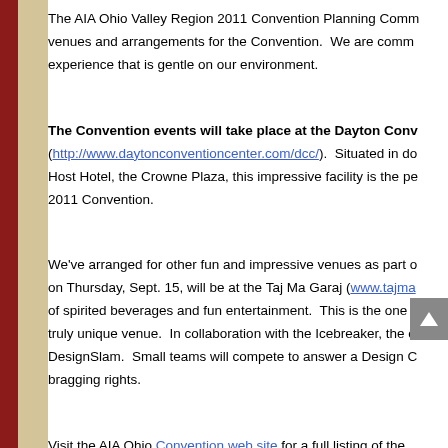The AIA Ohio Valley Region 2011 Convention Planning Comm venues and arrangements for the Convention. We are comm experience that is gentle on our environment.
The Convention events will take place at the Dayton Conv (http://www.daytonconventioncenter.com/dcc/). Situated in do Host Hotel, the Crowne Plaza, this impressive facility is the pe 2011 Convention.
We've arranged for other fun and impressive venues as part o on Thursday, Sept. 15, will be at the Taj Ma Garaj (www.tajma of spirited beverages and fun entertainment. This is the one p truly unique venue. In collaboration with the Icebreaker, the c DesignSlam. Small teams will compete to answer a Design C bragging rights.
Visit the AIA Ohio Convention web site for a full listing of the